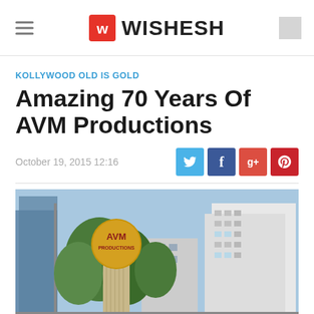WISHESH
KOLLYWOOD OLD IS GOLD
Amazing 70 Years Of AVM Productions
October 19, 2015 12:16
[Figure (photo): AVM Productions globe-shaped logo monument on a pedestal with trees and city buildings in the background under a blue sky.]